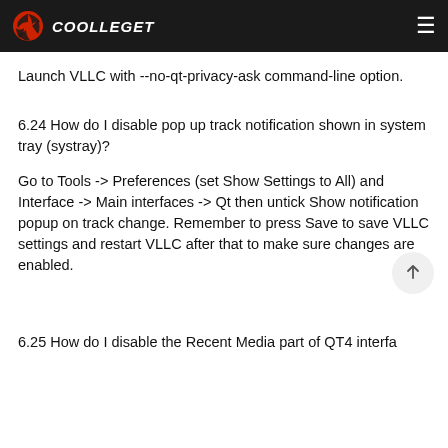COOLLEGET
Launch VLLC with --no-qt-privacy-ask command-line option.
6.24 How do I disable pop up track notification shown in system tray (systray)?
Go to Tools -> Preferences (set Show Settings to All) and Interface -> Main interfaces -> Qt then untick Show notification popup on track change. Remember to press Save to save VLLC settings and restart VLLC after that to make sure changes are enabled.
6.25 How do I disable the Recent Media part of QT4 interfa